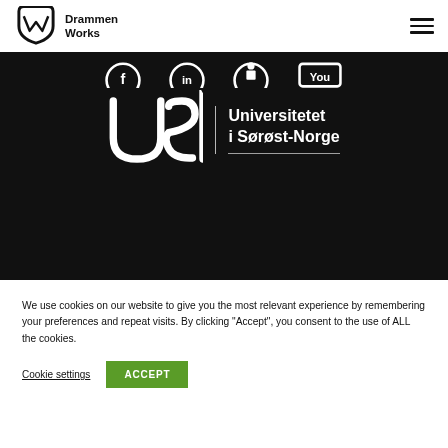Drammen Works
[Figure (logo): USN – Universitetet i Sørøst-Norge logo on dark background with partial white circle icons above]
We use cookies on our website to give you the most relevant experience by remembering your preferences and repeat visits. By clicking "Accept", you consent to the use of ALL the cookies.
Cookie settings   ACCEPT